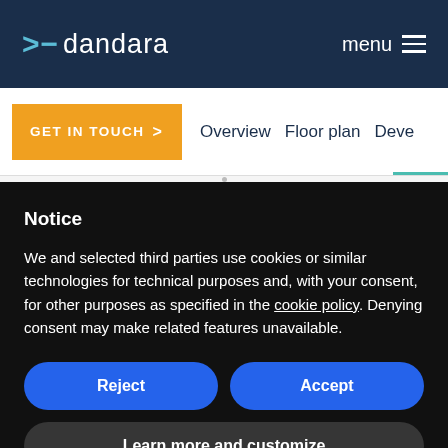dandara  menu
GET IN TOUCH  >  Overview  Floor plan  Deve
Notice
We and selected third parties use cookies or similar technologies for technical purposes and, with your consent, for other purposes as specified in the cookie policy. Denying consent may make related features unavailable.
Reject
Accept
Learn more and customize